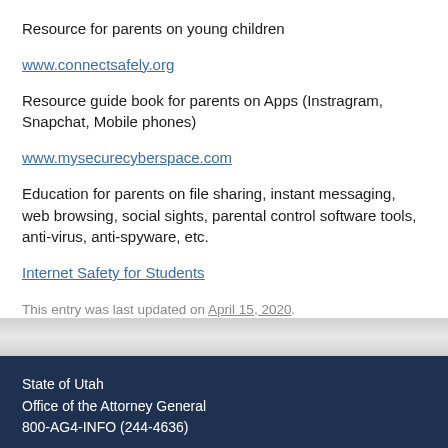Resource for parents on young children
www.connectsafely.org
Resource guide book for parents on Apps (Instragram, Snapchat, Mobile phones)
www.mysecurecyberspace.com
Education for parents on file sharing, instant messaging, web browsing, social sights, parental control software tools, anti-virus, anti-spyware, etc.
Internet Safety for Students
This entry was last updated on April 15, 2020.
State of Utah
Office of the Attorney General
800-AG4-INFO (244-4636)